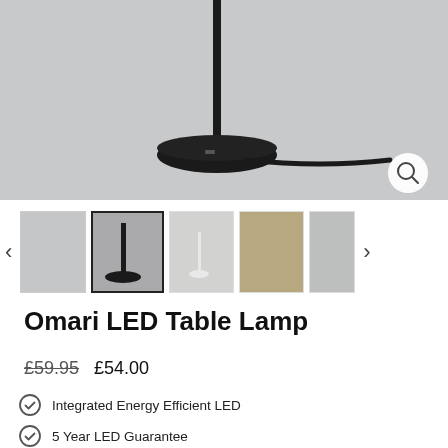[Figure (photo): Main product photo of Omari LED Table Lamp base and cord on grey background with zoom magnifier icon]
[Figure (photo): Thumbnail gallery row showing 5 product photos of Omari LED Table Lamp in various settings]
Omari LED Table Lamp
£59.95 £54.00
Integrated Energy Efficient LED
5 Year LED Guarantee
Colour — Black